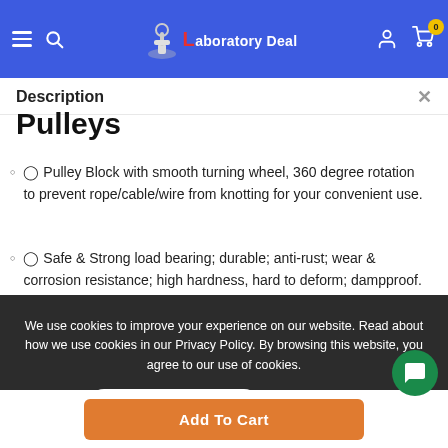Laboratory Deal — navigation header with hamburger menu, search, logo, account, and cart (0 items)
Description
Pulleys
🔘 Pulley Block with smooth turning wheel, 360 degree rotation to prevent rope/cable/wire from knotting for your convenient use.
🔘 Safe & Strong load bearing; durable; anti-rust; wear & corrosion resistance; high hardness, hard to deform; dampproof.
We use cookies to improve your experience on our website. Read about how we use cookies in our Privacy Policy. By browsing this website, you agree to our use of cookies.
Add To Cart